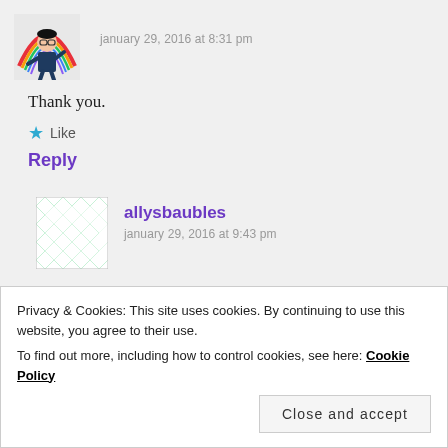[Figure (illustration): User avatar showing a cartoon figure with rainbow, wearing dark outfit, glasses]
january 29, 2016 at 8:31 pm
Thank you.
Like
Reply
[Figure (illustration): Green and white diamond/checkerboard pattern avatar for allysbaubles]
allysbaubles
january 29, 2016 at 9:43 pm
Privacy & Cookies: This site uses cookies. By continuing to use this website, you agree to their use.
To find out more, including how to control cookies, see here: Cookie Policy
Close and accept